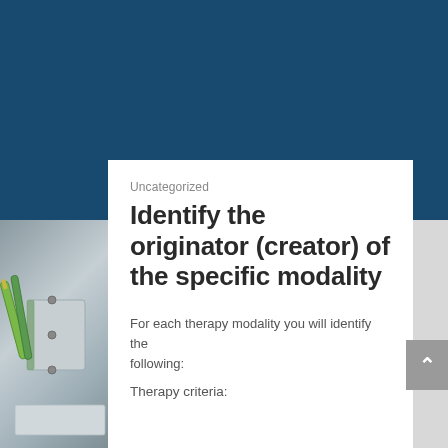[Figure (photo): Dark blue header background with a photo of notebooks/stationery items visible on the left side]
Uncategorized
Identify the originator (creator) of the specific modality
For each therapy modality you will identify the following:
Therapy criteria: